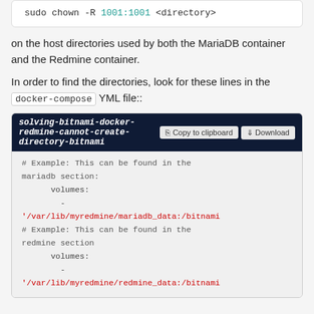[Figure (screenshot): Code block showing: sudo chown -R 1001:1001 <directory>]
on the host directories used by both the MariaDB container and the Redmine container.
In order to find the directories, look for these lines in the docker-compose YML file::
[Figure (screenshot): Code block titled 'solving-bitnami-docker-redmine-cannot-create-directory-bitnami' with Copy to clipboard and Download buttons, showing YAML config with volumes for mariadb and redmine sections]